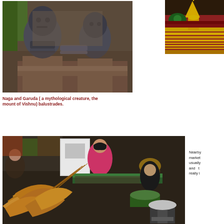[Figure (photo): Stone Naga and Garuda mythological creature balustrade statues at a temple, with greenery in background]
[Figure (photo): Colorful temple with golden stupa and peacock decoration, red and gold ornamental architecture]
Naga and Garuda ( a mythological creature, the mount of Vishnu) balustrades.
[Figure (photo): Nearby market scene with vendors selling seafood including large prawns/shrimp, women vendors in pink and dark clothing]
Nearby market usually and t really i